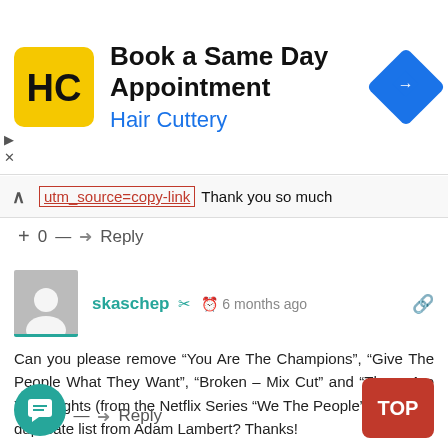[Figure (infographic): Hair Cuttery ad banner with logo, text 'Book a Same Day Appointment' and 'Hair Cuttery', and a blue navigation arrow icon]
utm_source=copy-link Thank you so much
+ 0 — Reply
skaschep 6 months ago
Can you please remove “You Are The Champions”, “Give The People What They Want”, “Broken – Mix Cut” and “These Are Your Rights (from the Netflix Series “We The People”)” from the duplicate list from Adam Lambert? Thanks!
25 0 — Reply